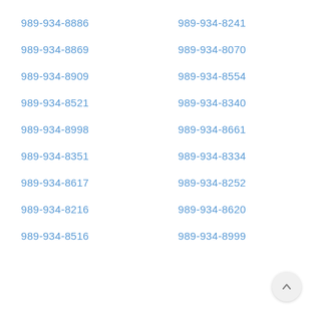989-934-8886
989-934-8241
989-934-8869
989-934-8070
989-934-8909
989-934-8554
989-934-8521
989-934-8340
989-934-8998
989-934-8661
989-934-8351
989-934-8334
989-934-8617
989-934-8252
989-934-8216
989-934-8620
989-934-8516
989-934-8999